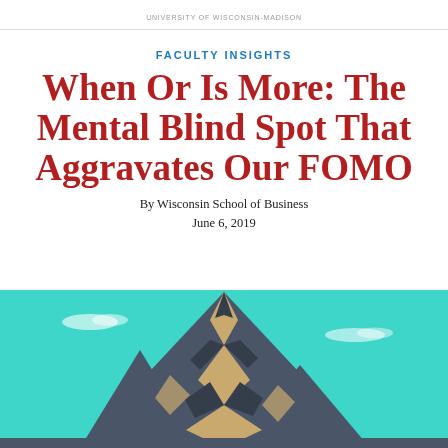UNIVERSITY OF WISCONSIN-MADISON
FACULTY INSIGHTS
When Or Is More: The Mental Blind Spot That Aggravates Our FOMO
By Wisconsin School of Business
June 6, 2019
[Figure (illustration): Stylized illustration of a rocky mountain peak against a teal/turquoise sky with small white clouds. The mountain has dark grey rock faces with beige/sand colored crevices and snow lines.]